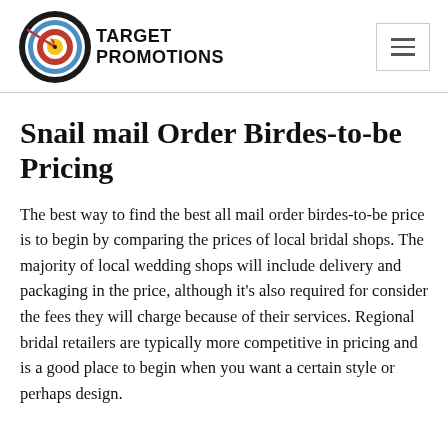Target Promotions
Snail mail Order Birdes-to-be Pricing
The best way to find the best all mail order birdes-to-be price is to begin by comparing the prices of local bridal shops. The majority of local wedding shops will include delivery and packaging in the price, although it's also required for consider the fees they will charge because of their services. Regional bridal retailers are typically more competitive in pricing and is a good place to begin when you want a certain style or perhaps design.